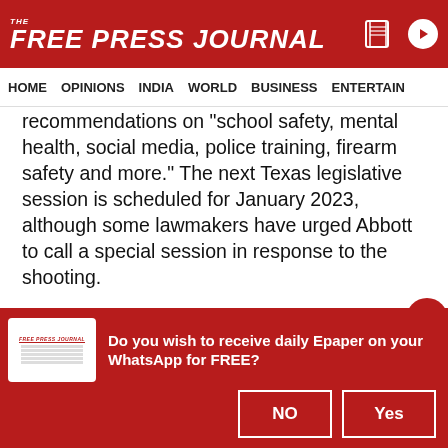THE FREE PRESS JOURNAL
HOME | OPINIONS | INDIA | WORLD | BUSINESS | ENTERTAIN
recommendations on “school safety, mental health, social media, police training, firearm safety and more.” The next Texas legislative session is scheduled for January 2023, although some lawmakers have urged Abbott to call a special session in response to the shooting.
After the 2018 shooting at Santa Fe High School, lawmakers in 2019 approved $100 million for schools to improve campus safety with metal detectors,
Do you wish to receive daily Epaper on your WhatsApp for FREE?